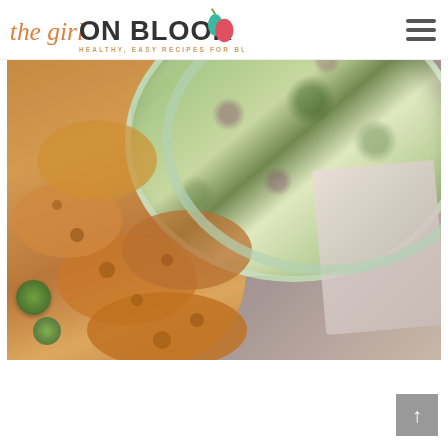The Girl On Bloor - Healthy, Easy Recipes for Busy People!
[Figure (photo): Overhead/top-down photo of a glass baking dish filled with a cheesy spinach/kale artichoke dip with red onion and herbs, surrounded by sliced toasted baguette crostini, halved Brussels sprouts, and a linen napkin on a rustic white-washed wooden surface.]